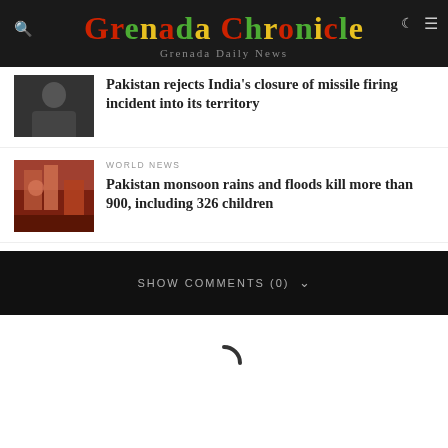Grenada Chronicle — Grenada Daily News
Pakistan rejects India's closure of missile firing incident into its territory
WORLD NEWS
Pakistan monsoon rains and floods kill more than 900, including 326 children
SHOW COMMENTS (0)